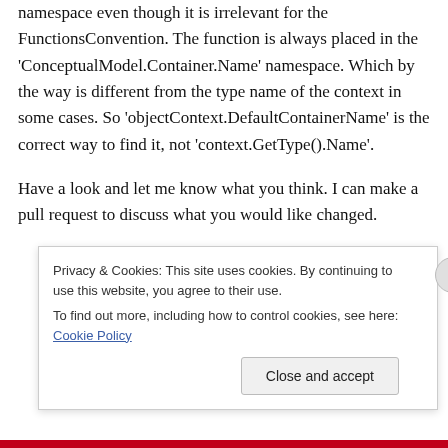namespace even though it is irrelevant for the FunctionsConvention. The function is always placed in the 'ConceptualModel.Container.Name' namespace. Which by the way is different from the type name of the context in some cases. So 'objectContext.DefaultContainerName' is the correct way to find it, not 'context.GetType().Name'.
Have a look and let me know what you think. I can make a pull request to discuss what you would like changed.
Privacy & Cookies: This site uses cookies. By continuing to use this website, you agree to their use.
To find out more, including how to control cookies, see here: Cookie Policy